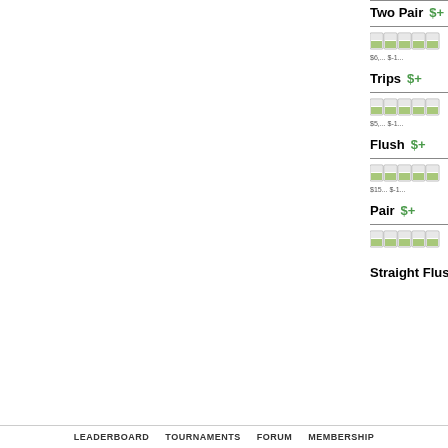Two Pair  $+
[Figure (illustration): Five small page/document icons with green landscape thumbnails]
$6,... $-1...
Trips  $+
[Figure (illustration): Five small page/document icons with green landscape thumbnails]
$5,... $-1...
Flush  $+
[Figure (illustration): Five small page/document icons with green landscape thumbnails]
$15... $-1...
Pair  $+
[Figure (illustration): Five small page/document icons with green landscape thumbnails]
Straight Flush
LEADERBOARD   TOURNAMENTS   FORUM   MEMBERSHIP